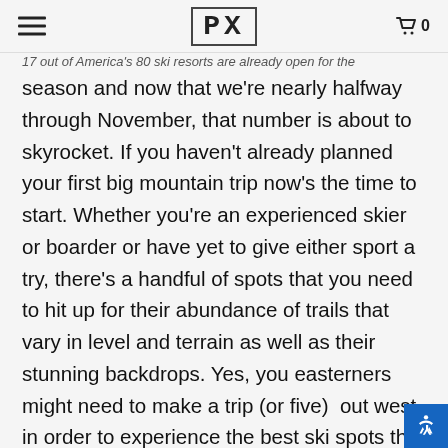PX
17 out of America's 80 ski resorts are already open for the season and now that we're nearly halfway through November, that number is about to skyrocket. If you haven't already planned your first big mountain trip now's the time to start. Whether you're an experienced skier or boarder or have yet to give either sport a try, there's a handful of spots that you need to hit up for their abundance of trails that vary in level and terrain as well as their stunning backdrops. Yes, you easterners might need to make a trip (or five) out west in order to experience the best ski spots the country has to offer but once you're whipping down a tree-lined trail with fresh powder curtaining up on both sides you'll agree that the journey was more than worth it. Below, check out five of the best ski resorts in America.